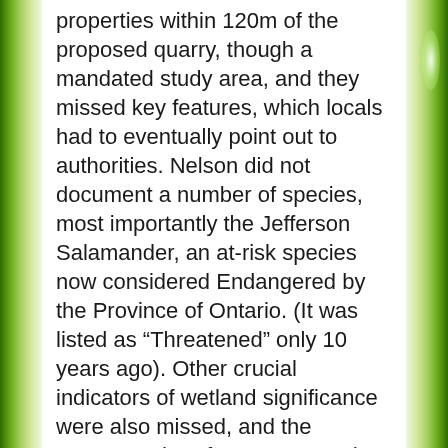properties within 120m of the proposed quarry, though a mandated study area, and they missed key features, which locals had to eventually point out to authorities. Nelson did not document a number of species, most importantly the Jefferson Salamander, an at-risk species now considered Endangered by the Province of Ontario. (It was listed as “Threatened” only 10 years ago). Other crucial indicators of wetland significance were also missed, and the company, therefore, expressed a considerably different picture to government agencies of what was on the ground in the proposed quarry area. Later, in 2006, during the quarry application review period the company was found by Conservation